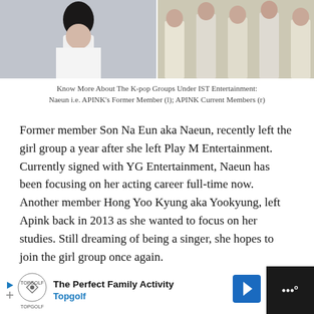[Figure (photo): Two photos side by side: left shows Naeun (APINK's former member) in white outfit; right shows APINK current members in light-colored outfits]
Know More About The K-pop Groups Under IST Entertainment: Naeun i.e. APINK's Former Member (l); APINK Current Members (r)
Former member Son Na Eun aka Naeun, recently left the girl group a year after she left Play M Entertainment. Currently signed with YG Entertainment, Naeun has been focusing on her acting career full-time now. Another member Hong Yoo Kyung aka Yookyung, left Apink back in 2013 as she wanted to focus on her studies. Still dreaming of being a singer, she hopes to join the girl group once again.
[Figure (other): Advertisement banner: Topgolf - The Perfect Family Activity]